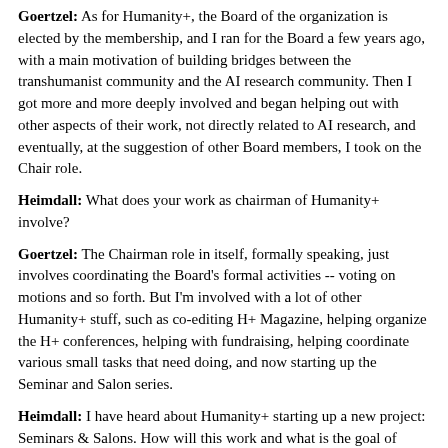Goertzel: As for Humanity+, the Board of the organization is elected by the membership, and I ran for the Board a few years ago, with a main motivation of building bridges between the transhumanist community and the AI research community. Then I got more and more deeply involved and began helping out with other aspects of their work, not directly related to AI research, and eventually, at the suggestion of other Board members, I took on the Chair role.
Heimdall: What does your work as chairman of Humanity+ involve?
Goertzel: The Chairman role in itself, formally speaking, just involves coordinating the Board's formal activities -- voting on motions and so forth. But I'm involved with a lot of other Humanity+ stuff, such as co-editing H+ Magazine, helping organize the H+ conferences, helping with fundraising, helping coordinate various small tasks that need doing, and now starting up the Seminar and Salon series.
Heimdall: I have heard about Humanity+ starting up a new project: Seminars & Salons. How will this work and what is the goal of these online seminar and salon sessions?
Goertzel: The idea is simple: every month or so we'll gather together a bunch of transhumanists in one virtual "place" using videoconferencing technology. Sometimes to hear a talk by someone, sometimes just to discuss a chosen transhumanist topic.